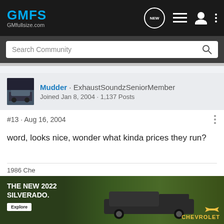[Figure (screenshot): GMFS GMfullsize.com forum website header with logo and navigation icons (NEW chat bubble, list, user, dots menu)]
Search Community
[Figure (photo): User avatar thumbnail showing a truck]
Mudder · ExhaustSoundzSeniorMember
Joined Jan 8, 2004 · 1,137 Posts
#13 · Aug 16, 2004
word, looks nice, wonder what kinda prices they run?
1986 Che
[Figure (screenshot): Chevrolet advertisement banner: THE NEW 2022 SILVERADO. with Explore button, truck image, and Chevrolet logo]